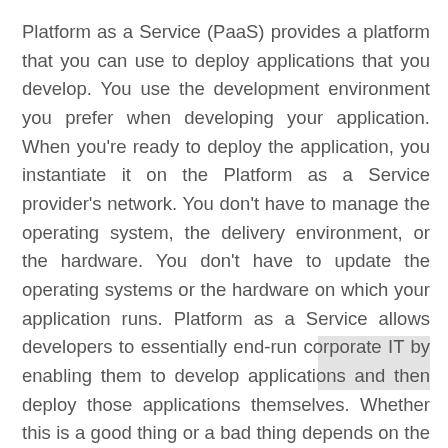Platform as a Service (PaaS) provides a platform that you can use to deploy applications that you develop. You use the development environment you prefer when developing your application. When you're ready to deploy the application, you instantiate it on the Platform as a Service provider's network. You don't have to manage the operating system, the delivery environment, or the hardware. You don't have to update the operating systems or the hardware on which your application runs. Platform as a Service allows developers to essentially end-run corporate IT by enabling them to develop applications and then deploy those applications themselves. Whether this is a good thing or a bad thing depends on the type of business you run. It's probably a bad idea for corporate IT, since developers sometimes aren't as aware of